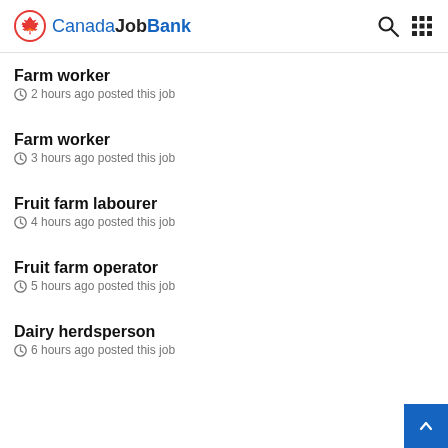CanadaJobBank
Farm worker
2 hours ago posted this job
Farm worker
3 hours ago posted this job
Fruit farm labourer
4 hours ago posted this job
Fruit farm operator
5 hours ago posted this job
Dairy herdsperson
6 hours ago posted this job